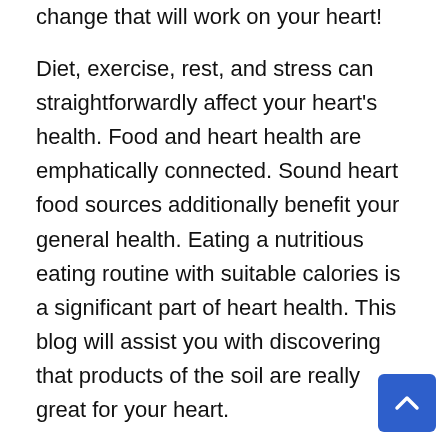change that will work on your heart!
Diet, exercise, rest, and stress can straightforwardly affect your heart's health. Food and heart health are emphatically connected. Sound heart food sources additionally benefit your general health. Eating a nutritious eating routine with suitable calories is a significant part of heart health. This blog will assist you with discovering that products of the soil are really great for your heart.
Natural products and vegetable guides in great heart health – Trans fats are the main source of coronary illness in people. You can further develop your heart health by changing your typical eating routine, such as eating all the more new natural products and veggies and